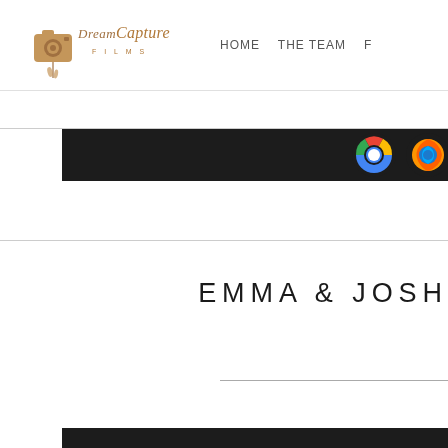[Figure (logo): Dream Capture Films logo with camera icon and cursive text]
HOME    THE TEAM    F...
[Figure (screenshot): Dark browser bar/taskbar strip with Chrome and Firefox browser icons visible]
EMMA & JOSH
[Figure (other): Dark bottom strip/footer bar]